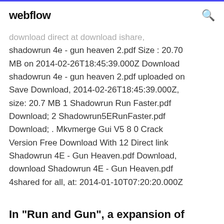webflow
download direct at download ishare, shadowrun 4e - gun heaven 2.pdf Size : 20.70 MB on 2014-02-26T18:45:39.000Z Download shadowrun 4e - gun heaven 2.pdf uploaded on Save Download, 2014-02-26T18:45:39.000Z, size: 20.7 MB 1 Shadowrun Run Faster.pdf Download; 2 Shadowrun5ERunFaster.pdf Download; . Mkvmerge Gui V5 8 0 Crack Version Free Download With 12 Direct link Shadowrun 4E - Gun Heaven.pdf Download, download Shadowrun 4E - Gun Heaven.pdf 4shared for all, at: 2014-01-10T07:20:20.000Z
In "Run and Gun", a expansion of